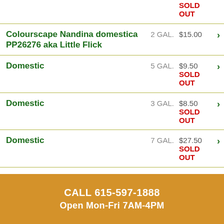SOLD OUT (partial top row)
Colourscape Nandina domestica PP26276 aka Little Flick — 2 GAL. — $15.00
Domestic — 5 GAL. — $9.50 SOLD OUT
Domestic — 3 GAL. — $8.50 SOLD OUT
Domestic — 7 GAL. — $27.50 SOLD OUT
Firepower — 1 GAL. — $4.50
CALL 615-597-1888 Open Mon-Fri 7AM-4PM